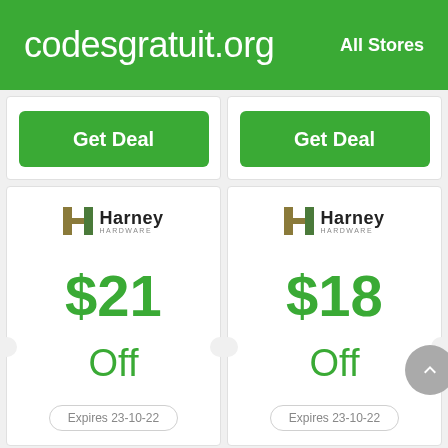codesgratuit.org   All Stores
[Figure (other): Get Deal button (top left card)]
[Figure (other): Get Deal button (top right card)]
[Figure (other): Harney Hardware coupon card: $21 Off, Expires 23-10-22]
[Figure (other): Harney Hardware coupon card: $18 Off, Expires 23-10-22]